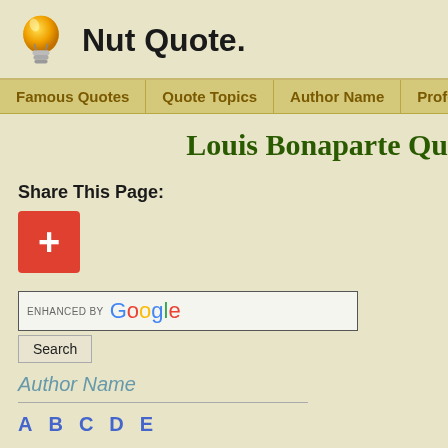Nut Quote.
Famous Quotes | Quote Topics | Author Name | Profession | Nationality
Louis Bonaparte Qu
Share This Page:
[Figure (other): Red square button with white plus sign (share button)]
[Figure (other): Google enhanced search box with Search button]
Author Name
A B C D E